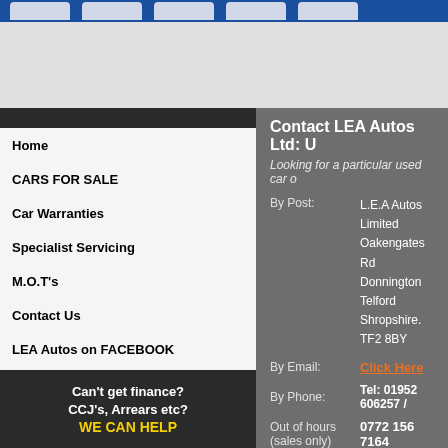[Figure (screenshot): Website header banner with blue navigation tab strip at top and grey background]
Home
CARS FOR SALE
Car Warranties
Specialist Servicing
M.O.T's
Contact Us
LEA Autos on FACEBOOK
SELL YOUR CAR TO L.E.A.
Terms & Conditions
Can't get finance? CCJ's, Arrears etc? WE CAN HELP
Contact LEA Autos Ltd: U
Looking for a particular used car o
By Post:
L.E.A Autos Limited
Oakengates Rd
Donnington
Telford
Shropshire.
TF2 8BY
By Email:
Click Here
By Phone:
Tel: 01952 606257 /
Out of hours (sales only)
0772 156 7164
Contact Name*: